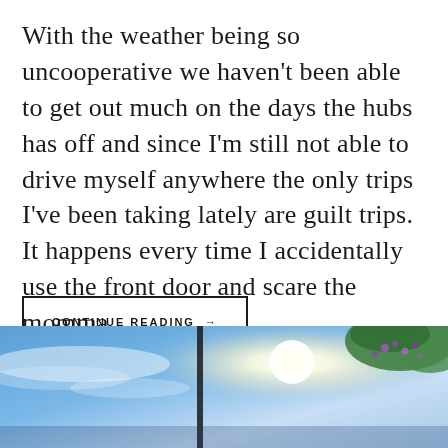With the weather being so uncooperative we haven't been able to get out much on the days the hubs has off and since I'm still not able to drive myself anywhere the only trips I've been taking lately are guilt trips. It happens every time I accidentally use the front door and scare the momma ...
CONTINUE READING →
[Figure (photo): Outdoor photo showing a bright sunny sky with blue tones, a dark pole or post visible in the center, and green foliage with purple flowers in the top right corner.]